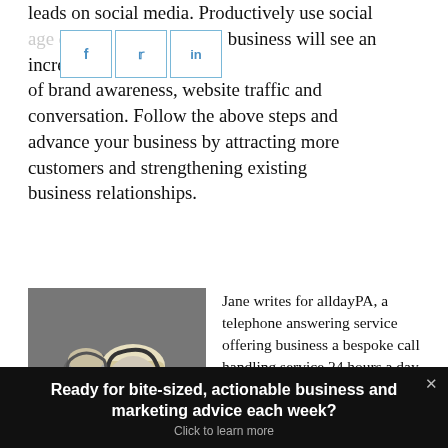leads on social media. Productively use social media and your business will see an increase of brand awareness, website traffic and conversation. Follow the above steps and advance your business by attracting more customers and strengthening existing business relationships.
[Figure (photo): Two women wearing headsets, smiling, in a call center or telephone answering service environment. Black and white photo.]
Jane writes for alldayPA, a telephone answering service offering business a bespoke call handling service 24 hours a day, 365 days a year.
Ready for bite-sized, actionable business and marketing advice each week? Click to learn more